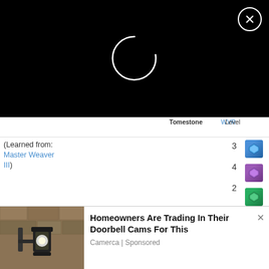[Figure (screenshot): Black loading screen overlay with spinning circle indicator and close (X) button in top-right corner]
| Item | Source | Class | Level | Qty | Material |
| --- | --- | --- | --- | --- | --- |
| (Learned from: Master Weaver III) | Tomestone | WVR |  | 3 | Blue gem icon |
|  |  |  |  | 4 | Purple gem icon |
|  |  |  |  | 2 | Green gem icon |
|  |  |  |  | 2 |  |
| [icon] Forgemaster's Sandals (Learned from: | Tomestone | LTW | 60 ★★ | 3 | Gray sphere |
|  |  |  |  | 1 | Tan stone |
|  |  |  |  | 1 | Book/scroll |
|  |  |  |  | 1 | Orange brick |
|  |  |  |  | 2 | Teal gem |
[Figure (photo): Outdoor wall lamp with bulb, stone wall background — advertisement image]
Homeowners Are Trading In Their Doorbell Cams For This
Camerca | Sponsored